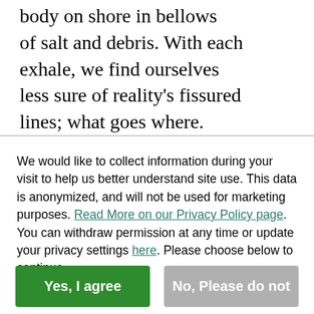body on shore in bellows of salt and debris. With each exhale, we find ourselves less sure of reality's fissured lines; what goes where.
We would like to collect information during your visit to help us better understand site use. This data is anonymized, and will not be used for marketing purposes. Read More on our Privacy Policy page. You can withdraw permission at any time or update your privacy settings here. Please choose below to continue.
Yes, I agree
No, Please do not